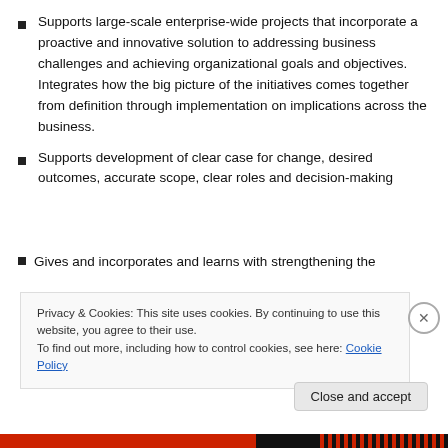Supports large-scale enterprise-wide projects that incorporate a proactive and innovative solution to addressing business challenges and achieving organizational goals and objectives. Integrates how the big picture of the initiatives comes together from definition through implementation on implications across the business.
Supports development of clear case for change, desired outcomes, accurate scope, clear roles and decision-making
Gi... (partially visible)
Privacy & Cookies: This site uses cookies. By continuing to use this website, you agree to their use. To find out more, including how to control cookies, see here: Cookie Policy
Close and accept